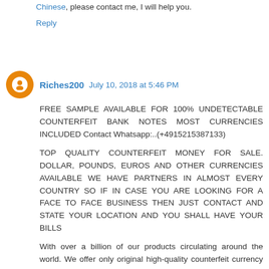Chinese, please contact me, I will help you.
Reply
Riches200  July 10, 2018 at 5:46 PM
FREE SAMPLE AVAILABLE FOR 100% UNDETECTABLE COUNTERFEIT BANK NOTES MOST CURRENCIES INCLUDED Contact Whatsapp:..(+4915215387133)
TOP QUALITY COUNTERFEIT MONEY FOR SALE. DOLLAR, POUNDS, EUROS AND OTHER CURRENCIES AVAILABLE WE HAVE PARTNERS IN ALMOST EVERY COUNTRY SO IF IN CASE YOU ARE LOOKING FOR A FACE TO FACE BUSINESS THEN JUST CONTACT AND STATE YOUR LOCATION AND YOU SHALL HAVE YOUR BILLS
With over a billion of our products circulating around the world. We offer only original high-quality counterfeit currency NOTES. We ship worldwide. We also print and sell Grade A banknotes of over 52 currencies in the world. Here is your chance to be a millionaire. Our money is